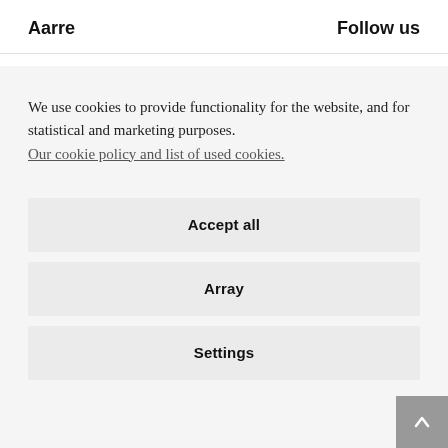Aarre   Follow us
We use cookies to provide functionality for the website, and for statistical and marketing purposes. Our cookie policy and list of used cookies.
Accept all
Array
Settings